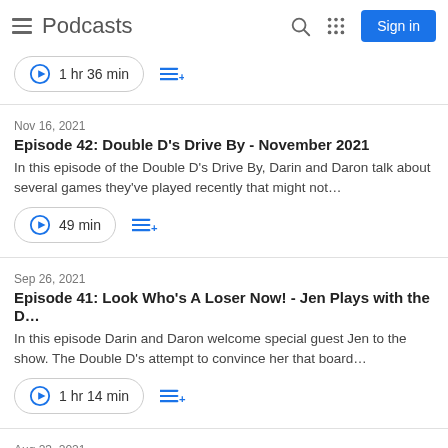Podcasts
1 hr 36 min
Nov 16, 2021
Episode 42: Double D's Drive By - November 2021
In this episode of the Double D's Drive By, Darin and Daron talk about several games they've played recently that might not…
49 min
Sep 26, 2021
Episode 41: Look Who's A Loser Now! - Jen Plays with the D…
In this episode Darin and Daron welcome special guest Jen to the show. The Double D's attempt to convince her that board…
1 hr 14 min
Aug 23, 2021